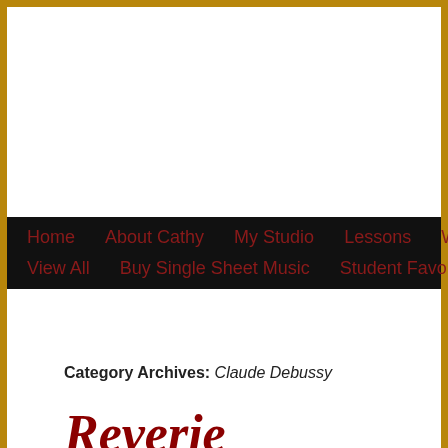Home  About Cathy  My Studio  Lessons  Workshee
View All  Buy Single Sheet Music  Student Favorites
Category Archives: Claude Debussy
Reverie
Posted on November 26, 2015 by admin